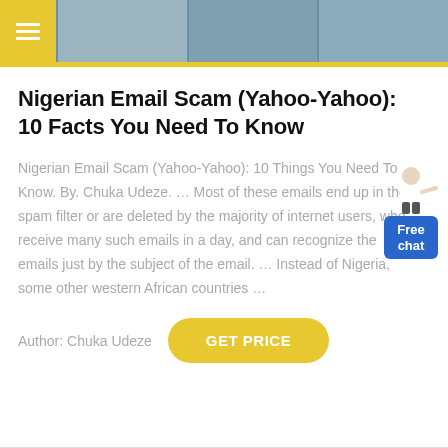Navigation header with menu button and images
Nigerian Email Scam (Yahoo-Yahoo): 10 Facts You Need To Know
Nigerian Email Scam (Yahoo-Yahoo): 10 Things You Need To Know. By. Chuka Udeze. ... Most of these emails end up in the spam filter or are deleted by the majority of internet users, who receive many such emails in a day, and can recognize the emails just by the subject of the email. ... Instead of Nigeria, some other western African countries ...
Author: Chuka Udeze